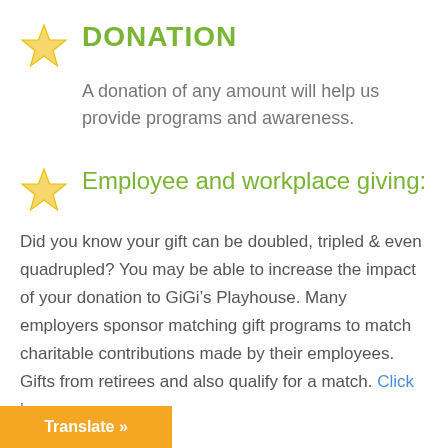DONATION
A donation of any amount will help us provide programs and awareness.
Employee and workplace giving:
Did you know your gift can be doubled, tripled & even quadrupled? You may be able to increase the impact of your donation to GiGi’s Playhouse. Many employers sponsor matching gift programs to match charitable contributions made by their employees. Gifts from retirees and also qualify for a match. Click here